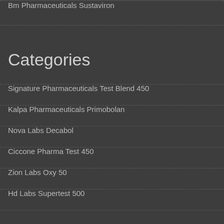Bm Pharmaceuticals Sustaviron
Categories
Signature Pharmaceuticals Test Blend 450
Kalpa Pharmaceuticals Primobolan
Nova Labs Decabol
Ciccone Pharma Test 450
Zion Labs Oxy 50
Hd Labs Supertest 500